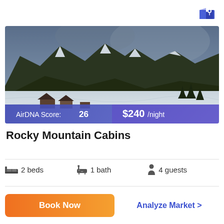[Figure (photo): Snow-covered mountain landscape with cabins in foreground, overcast sky, pine trees visible on right side. An overlay bar shows AirDNA Score: 26 on the left and $240/night on the right.]
Rocky Mountain Cabins
2 beds  1 bath  4 guests
Book Now
Analyze Market >